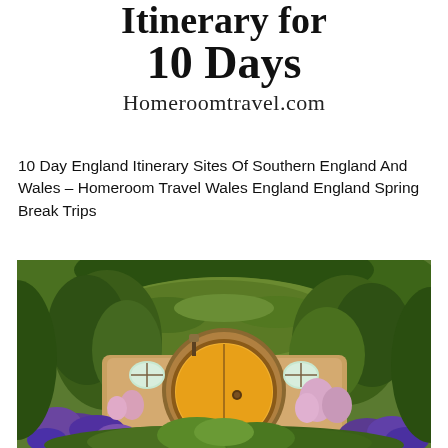Itinerary for 10 Days
Homeroomtravel.com
10 Day England Itinerary Sites Of Southern England And Wales – Homeroom Travel Wales England England Spring Break Trips
[Figure (photo): Photo of a hobbit-hole style dwelling with a round yellow door, surrounded by lush green vegetation, purple flowers (lupins/delphiniums) in the foreground, and climbing plants over a turf roof.]